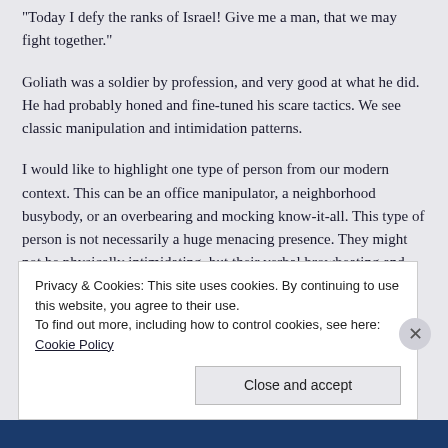"Today I defy the ranks of Israel! Give me a man, that we may fight together."
Goliath was a soldier by profession, and very good at what he did. He had probably honed and fine-tuned his scare tactics. We see classic manipulation and intimidation patterns.
I would like to highlight one type of person from our modern context. This can be an office manipulator, a neighborhood busybody, or an overbearing and mocking know-it-all. This type of person is not necessarily a huge menacing presence. They might not be physically intimidating, but their verbal browbeating and coercion can be just as terrorizing. This poisonous activity can induce just as much fear and demoralization in the attitudes and behavior of those surrounding this toxic person. This toxic person can be a virtual Goliath, and might come in many shapes or sizes. We need to be
Privacy & Cookies: This site uses cookies. By continuing to use this website, you agree to their use.
To find out more, including how to control cookies, see here: Cookie Policy
Close and accept